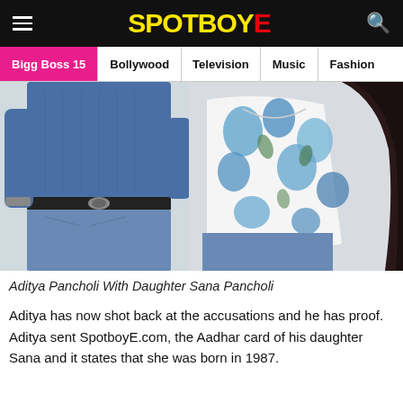SPOTBOYE
Bigg Boss 15 | Bollywood | Television | Music | Fashion
[Figure (photo): Two people standing together — a man in a blue shirt and jeans with a belt, and a woman in a white and blue floral top with jeans and long dark hair.]
Aditya Pancholi With Daughter Sana Pancholi
Aditya has now shot back at the accusations and he has proof. Aditya sent SpotboyE.com, the Aadhar card of his daughter Sana and it states that she was born in 1987.